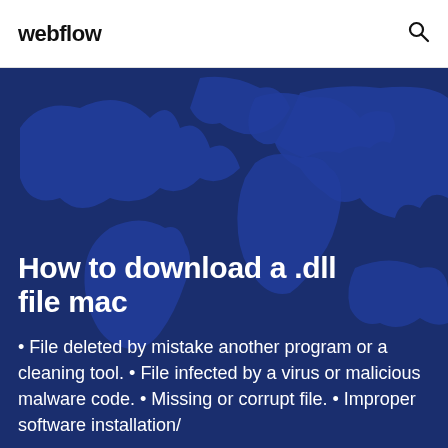webflow
[Figure (illustration): Dark blue world map background illustration used as hero image backdrop]
How to download a .dll file mac
• File deleted by mistake another program or a cleaning tool. • File infected by a virus or malicious malware code. • Missing or corrupt file. • Improper software installation/